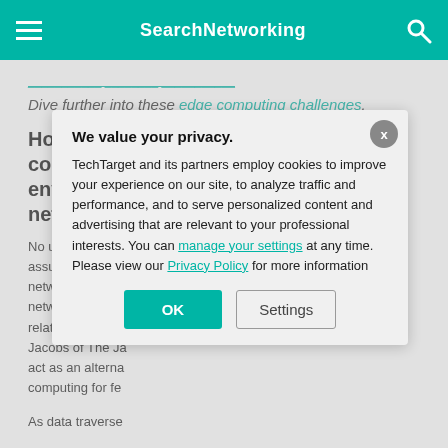SearchNetworking
Dive further into these edge computing challenges.
How does edge computing affect cloud environments and networks?
No universal, or architecture cur... assume any arc... network. Includin... network planning... relationship to cl... Jacobs of The Ja... act as an alterna... computing for fe...
As data traverse...
We value your privacy. TechTarget and its partners employ cookies to improve your experience on our site, to analyze traffic and performance, and to serve personalized content and advertising that are relevant to your professional interests. You can manage your settings at any time. Please view our Privacy Policy for more information